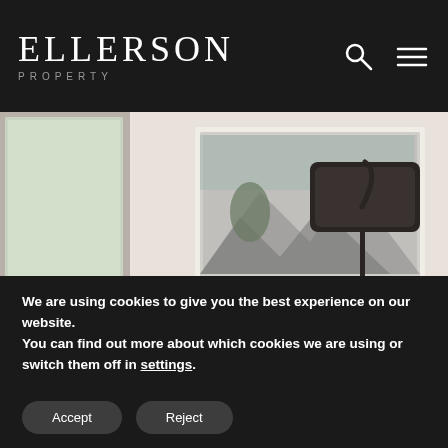ELLERSON PROPERTY
[Figure (photo): Interior photo of a stylish living room with a teal sofa decorated with pink, dark patterned, and cream cushions, a framed black-and-white landscape artwork on the wall, a dark floor lamp, plants, a white round coffee table, and books on the floor.]
We are using cookies to give you the best experience on our website.
You can find out more about which cookies we are using or switch them off in settings.
Accept
Reject